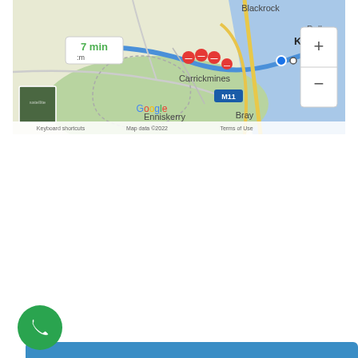[Figure (map): Google Maps screenshot showing a route near Carrickmines, Killiney, Blackrock, Dalkey, Bray, and Enniskerry with a '7 min' travel time popup. M11 motorway visible. Red traffic markers on the route. Zoom controls on right. Satellite thumbnail in lower left corner. Map data ©2022.]
BOOKING PAGE
You're one click away from a spotless home!
BOOK ONLINE